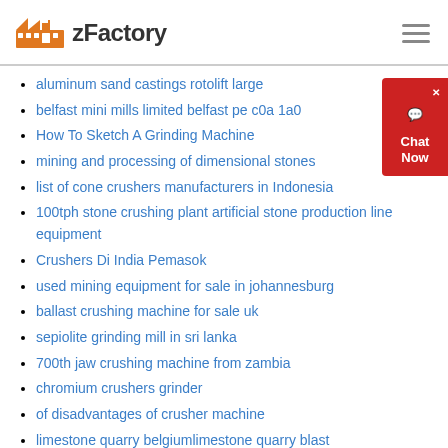zFactory
aluminum sand castings rotolift large
belfast mini mills limited belfast pe c0a 1a0
How To Sketch A Grinding Machine
mining and processing of dimensional stones
list of cone crushers manufacturers in Indonesia
100tph stone crushing plant artificial stone production line equipment
Crushers Di India Pemasok
used mining equipment for sale in johannesburg
ballast crushing machine for sale uk
sepiolite grinding mill in sri lanka
700th jaw crushing machine from zambia
chromium crushers grinder
of disadvantages of crusher machine
limestone quarry belgiumlimestone quarry blast
tarzan provide mobile crushers rock crusher stone crushing plant in shanghai
crusher in coal production